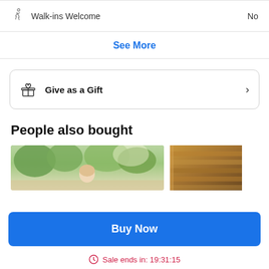Walk-ins Welcome   No
See More
Give as a Gift
People also bought
[Figure (photo): Two product images side by side: left shows a person outdoors with trees, right shows stacked books or wooden slats]
Buy Now
Sale ends in: 19:31:15